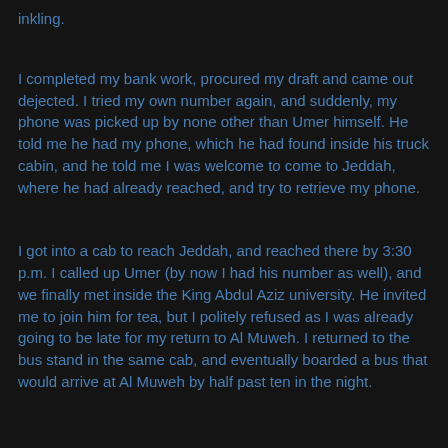inkling.
I completed my bank work, procured my draft and came out dejected. I tried my own number again, and suddenly, my phone was picked up by none other than Umer himself. He told me he had my phone, which he had found inside his truck cabin, and he told me I was welcome to come to Jeddah, where he had already reached, and try to retrieve my phone.
I got into a cab to reach Jeddah, and reached there by 3:30 p.m. I called up Umer (by now I had his number as well), and we finally met inside the King Abdul Aziz university. He invited me to join him for tea, but I politely refused as I was already going to be late for my return to Al Muweh. I returned to the bus stand in the same cab, and eventually boarded a bus that would arrive at Al Muweh by half past ten in the night.